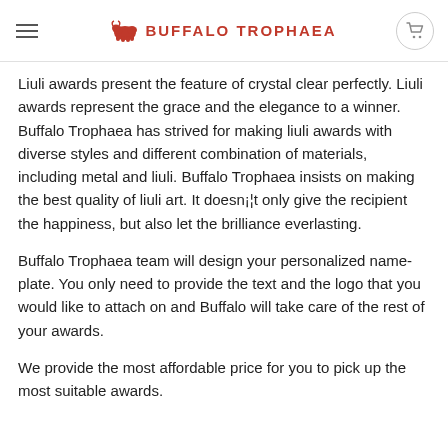Buffalo Trophaea
Liuli awards present the feature of crystal clear perfectly. Liuli awards represent the grace and the elegance to a winner. Buffalo Trophaea has strived for making liuli awards with diverse styles and different combination of materials, including metal and liuli. Buffalo Trophaea insists on making the best quality of liuli art. It doesn¡¦t only give the recipient the happiness, but also let the brilliance everlasting.
Buffalo Trophaea team will design your personalized name-plate. You only need to provide the text and the logo that you would like to attach on and Buffalo will take care of the rest of your awards.
We provide the most affordable price for you to pick up the most suitable awards.